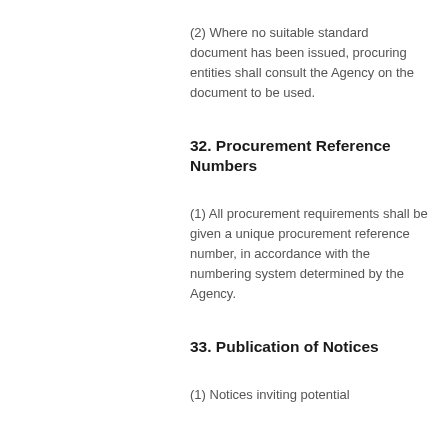(2) Where no suitable standard document has been issued, procuring entities shall consult the Agency on the document to be used.
32. Procurement Reference Numbers
(1) All procurement requirements shall be given a unique procurement reference number, in accordance with the numbering system determined by the Agency.
33. Publication of Notices
(1) Notices inviting potential